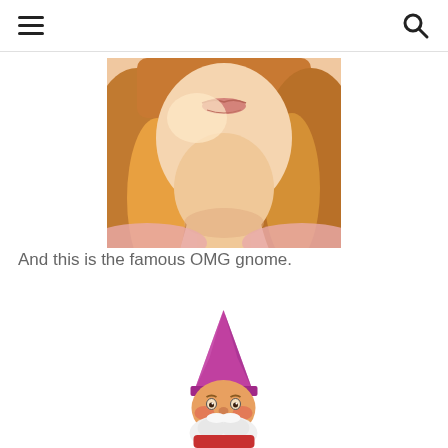Navigation header with hamburger menu and search icon
[Figure (photo): Close-up photo of a young woman with long auburn/golden hair, showing her face from nose down and her neck/shoulders, smiling slightly, white background]
And this is the famous OMG gnome.
[Figure (photo): Garden gnome figurine with a tall pink/magenta pointed hat, white beard, and rosy cheeks, shown from upper body against white background — the famous OMG gnome]